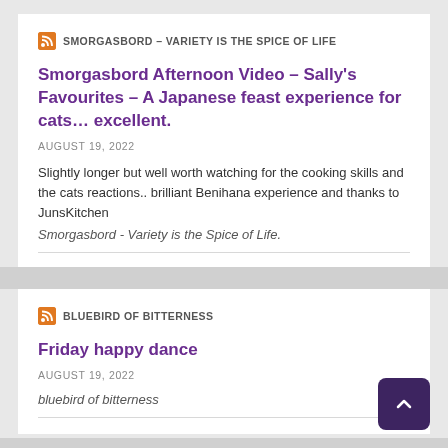SMORGASBORD – VARIETY IS THE SPICE OF LIFE
Smorgasbord Afternoon Video – Sally's Favourites – A Japanese feast experience for cats… excellent.
AUGUST 19, 2022
Slightly longer but well worth watching for the cooking skills and the cats reactions.. brilliant Benihana experience and thanks to JunsKitchen
Smorgasbord - Variety is the Spice of Life.
BLUEBIRD OF BITTERNESS
Friday happy dance
AUGUST 19, 2022
bluebird of bitterness